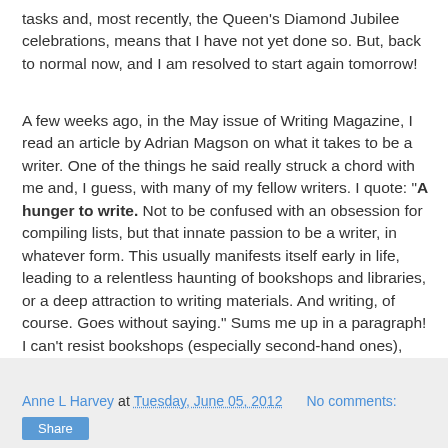tasks and, most recently, the Queen's Diamond Jubilee celebrations, means that I have not yet done so. But, back to normal now, and I am resolved to start again tomorrow!
A few weeks ago, in the May issue of Writing Magazine, I read an article by Adrian Magson on what it takes to be a writer. One of the things he said really struck a chord with me and, I guess, with many of my fellow writers. I quote: "A hunger to write. Not to be confused with an obsession for compiling lists, but that innate passion to be a writer, in whatever form. This usually manifests itself early in life, leading to a relentless haunting of bookshops and libraries, or a deep attraction to writing materials. And writing, of course. Goes without saying." Sums me up in a paragraph! I can't resist bookshops (especially second-hand ones), libraries (all those books promising a good read) and stationery shops (to buy notebooks, of course!).
Anne L Harvey at Tuesday, June 05, 2012   No comments:   Share